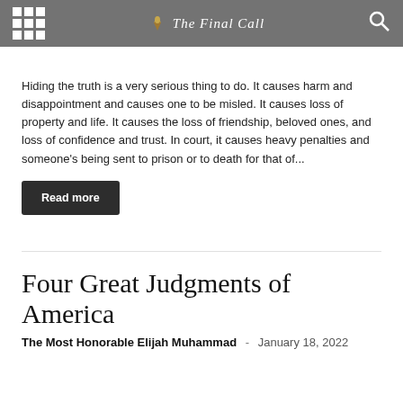The Final Call
Hiding the truth is a very serious thing to do. It causes harm and disappointment and causes one to be misled. It causes loss of property and life. It causes the loss of friendship, beloved ones, and loss of confidence and trust. In court, it causes heavy penalties and someone's being sent to prison or to death for that of...
Read more
Four Great Judgments of America
The Most Honorable Elijah Muhammad  -  January 18, 2022